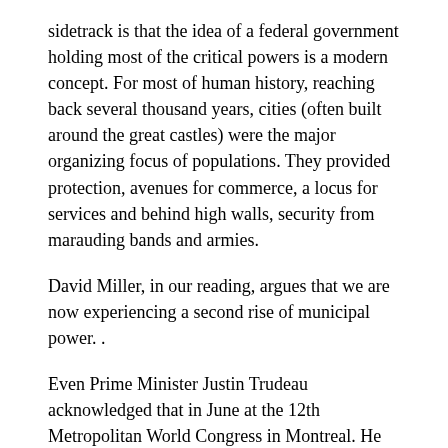sidetrack is that the idea of a federal government holding most of the critical powers is a modern concept. For most of human history, reaching back several thousand years, cities (often built around the great castles) were the major organizing focus of populations. They provided protection, avenues for commerce, a locus for services and behind high walls, security from marauding bands and armies.
David Miller, in our reading, argues that we are now experiencing a second rise of municipal power. .
Even Prime Minister Justin Trudeau acknowledged that in June at the 12th Metropolitan World Congress in Montreal. He noted that unlike 1867, today 80% of the Canadian population lives in cities. He also acknowledged that the existing federal system does not fully recognize that reality. “Cities and large cities are